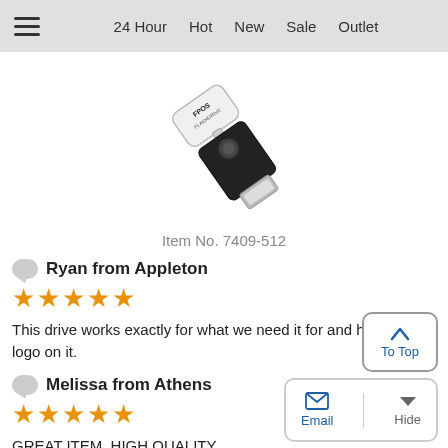≡  24 Hour  Hot  New  Sale  Outlet
[Figure (photo): A black and white USB flash drive with 'FPOS' printed on it, shown at an angle]
Item No. 7409-512
Ryan from Appleton
★★★★★
This drive works exactly for what we need it for and has our logo on it.
Melissa from Athens
★★★★★
GREAT ITEM, HIGH QUALITY
Jill from San Antonio